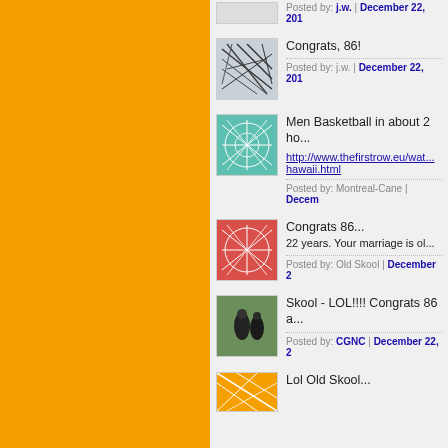[Figure (screenshot): Forum/blog post listing page with orange sidebar on left and post items on right. Each item has a thumbnail avatar, post title/content, and metadata line with poster name and date.]
Posted by: j.w. | December 22, 201...
Congrats, 86!
Men Basketball in about 2 ho...
http://www.thefirstrow.eu/wat... hawaii.html
Posted by: Montreal-Cane | Decem...
Congrats 86...
22 years. Your marriage is ol...
Posted by: Old Skool | December 2...
Skool - LOL!!!! Congrats 86 a...
Posted by: CGNC | December 22, 2...
Lol Old Skool...